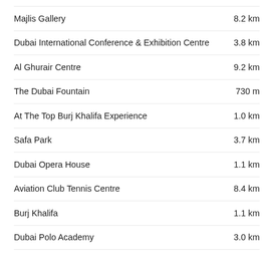Majlis Gallery	8.2 km
Dubai International Conference & Exhibition Centre	3.8 km
Al Ghurair Centre	9.2 km
The Dubai Fountain	730 m
At The Top Burj Khalifa Experience	1.0 km
Safa Park	3.7 km
Dubai Opera House	1.1 km
Aviation Club Tennis Centre	8.4 km
Burj Khalifa	1.1 km
Dubai Polo Academy	3.0 km
[Figure (logo): Booking.com logo]
[Figure (logo): Expedia logo]
[Figure (logo): KAYAK logo]
[Figure (logo): Hotels.com logo]